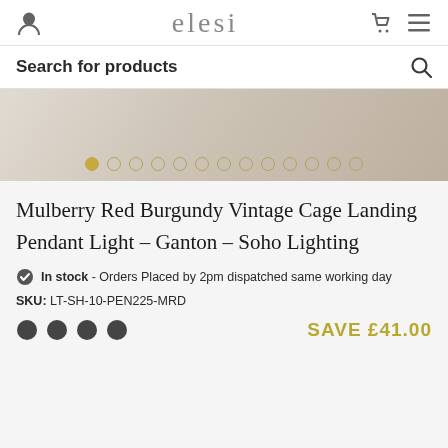elesi
Search for products
[Figure (photo): Product image of Mulberry Red Burgundy Vintage Cage Landing Pendant Light with image carousel dots]
Mulberry Red Burgundy Vintage Cage Landing Pendant Light - Ganton - Soho Lighting
In stock - Orders Placed by 2pm dispatched same working day
SKU: LT-SH-10-PEN225-MRD
SAVE £41.00